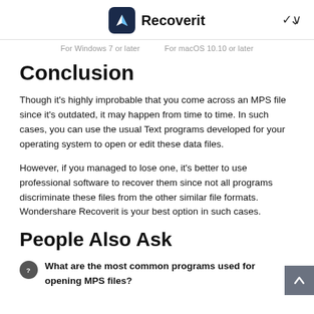Recoverit
For Windows 7 or later    For macOS 10.10 or later
Conclusion
Though it's highly improbable that you come across an MPS file since it's outdated, it may happen from time to time. In such cases, you can use the usual Text programs developed for your operating system to open or edit these data files.
However, if you managed to lose one, it's better to use professional software to recover them since not all programs discriminate these files from the other similar file formats. Wondershare Recoverit is your best option in such cases.
People Also Ask
What are the most common programs used for opening MPS files?